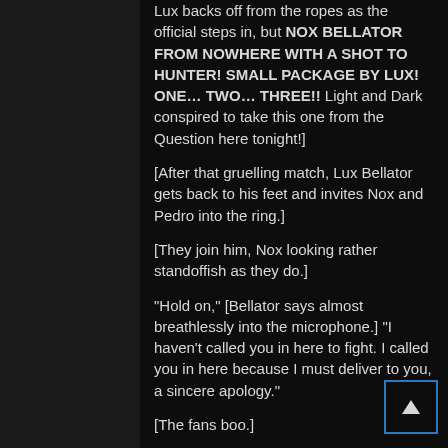Lux backs off from the ropes as the official steps in, but NOX BELLATOR FROM NOWHERE WITH A SHOT TO HUNTER! SMALL PACKAGE BY LUX! ONE… TWO… THREE!! Light and Dark conspired to take this one from the Question here tonight!]
[After that gruelling match, Lux Bellator gets back to his feet and invites Nox and Pedro into the ring.]
[They join him, Nox looking rather standoffish as they do.]
"Hold on," [Bellator says almost breathlessly into the microphone.] "I haven't called you in here to fight. I called you in here because I must deliver to you, a sincere apology."
[The fans boo.]